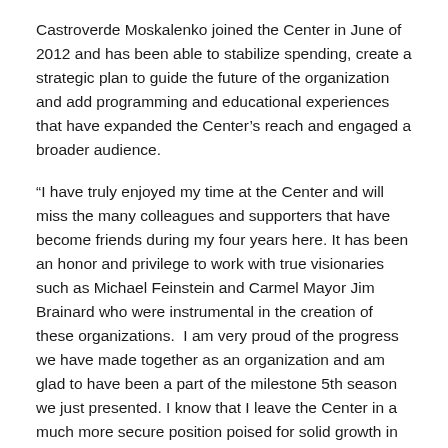Castroverde Moskalenko joined the Center in June of 2012 and has been able to stabilize spending, create a strategic plan to guide the future of the organization and add programming and educational experiences that have expanded the Center's reach and engaged a broader audience.
“I have truly enjoyed my time at the Center and will miss the many colleagues and supporters that have become friends during my four years here. It has been an honor and privilege to work with true visionaries such as Michael Feinstein and Carmel Mayor Jim Brainard who were instrumental in the creation of these organizations.  I am very proud of the progress we have made together as an organization and am glad to have been a part of the milestone 5th season we just presented. I know that I leave the Center in a much more secure position poised for solid growth in the years to come. The Center and the Foundation are in the capable hands of a talented and caring interim leader and boards of directors,” said Castroverde Moskalenko.